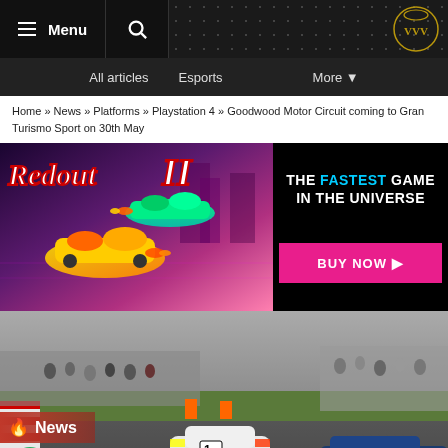≡ Menu | Search | VVV Logo
All articles   Esports   More ▾
Home » News » Platforms » Playstation 4 » Goodwood Motor Circuit coming to Gran Turismo Sport on 30th May
[Figure (screenshot): Redout II advertisement banner: left side shows futuristic racing game with neon cars, right side has text 'THE FASTEST GAME IN THE UNIVERSE' and a pink BUY NOW button]
[Figure (photo): Racing cars at Goodwood Motor Circuit with crowds of spectators, vintage race cars including a white AC Cobra and blue car racing on track]
News